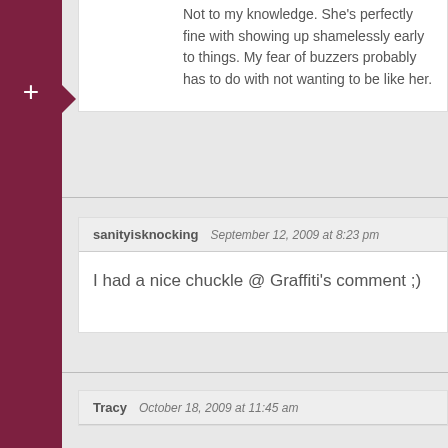Not to my knowledge. She's perfectly fine with showing up shamelessly early to things. My fear of buzzers probably has to do with not wanting to be like her.
sanityisknocking   September 12, 2009 at 8:23 pm
I had a nice chuckle @ Graffiti's comment ;)
Tracy   October 18, 2009 at 11:45 am